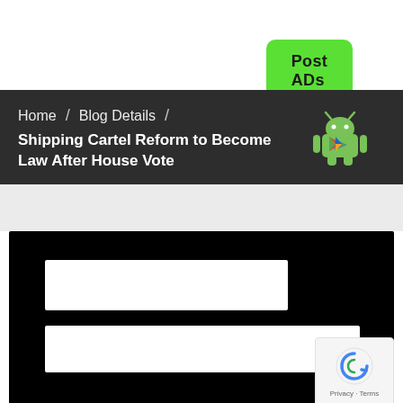[Figure (other): Green 'Post ADs Free' button in top right corner]
Home / Blog Details / Shipping Cartel Reform to Become Law After House Vote
[Figure (logo): Android robot mascot logo in green with Google Play triangle icon on chest]
[Figure (screenshot): Black background area with two white rectangular redacted/blurred content blocks and a reCAPTCHA badge in bottom right corner showing Privacy - Terms text]